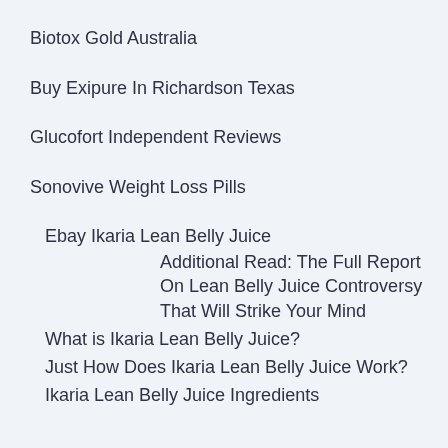Biotox Gold Australia
Buy Exipure In Richardson Texas
Glucofort Independent Reviews
Sonovive Weight Loss Pills
Ebay Ikaria Lean Belly Juice
Additional Read: The Full Report On Lean Belly Juice Controversy That Will Strike Your Mind
What is Ikaria Lean Belly Juice?
Just How Does Ikaria Lean Belly Juice Work?
Ikaria Lean Belly Juice Ingredients